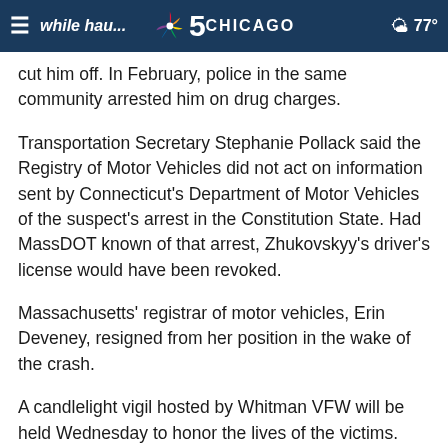≡ while haul... defendant claims NBC 5 CHICAGO 77°
cut him off. In February, police in the same community arrested him on drug charges.
Transportation Secretary Stephanie Pollack said the Registry of Motor Vehicles did not act on information sent by Connecticut's Department of Motor Vehicles of the suspect's arrest in the Constitution State. Had MassDOT known of that arrest, Zhukovskyy's driver's license would have been revoked.
Massachusetts' registrar of motor vehicles, Erin Deveney, resigned from her position in the wake of the crash.
A candlelight vigil hosted by Whitman VFW will be held Wednesday to honor the lives of the victims.